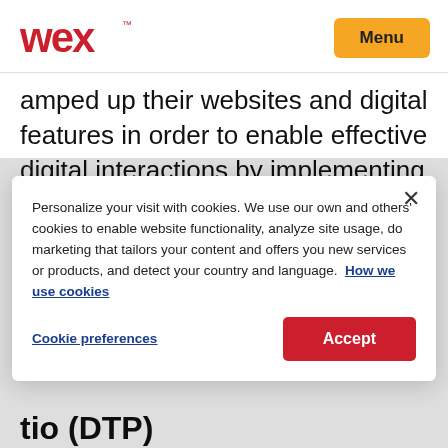[Figure (logo): WEX logo in red with trademark symbol]
amped up their websites and digital features in order to enable effective digital interactions by implementing live chat features and adding the functionality of ordering through mobile apps. These features help make the process from
Personalize your visit with cookies. We use our own and others' cookies to enable website functionality, analyze site usage, do marketing that tailors your content and offers you new services or products, and detect your country and language. How we use cookies
Cookie preferences
Accept
tio (DTP)